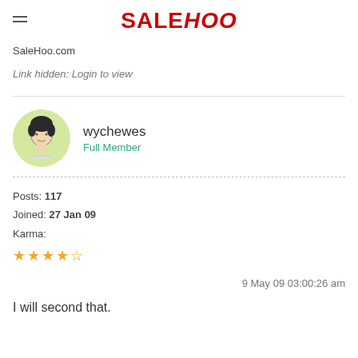SALEHOO
SaleHoo.com
Link hidden: Login to view
wychewes
Full Member
Posts: 117
Joined: 27 Jan 09
Karma:
★★★★☆
9 May 09 03:00:26 am
I will second that.